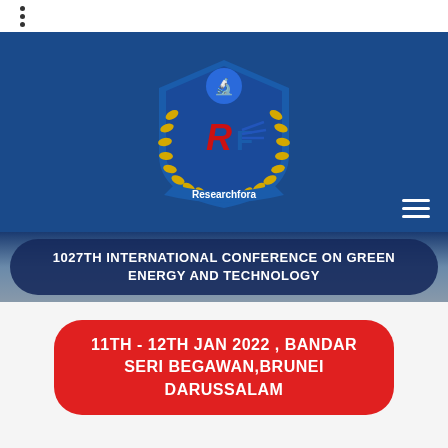⋮
[Figure (logo): Researchfora logo: shield shape with laurel wreath, blue background, red RF letters with wing design, text 'Researchfora' on blue ribbon]
1027TH INTERNATIONAL CONFERENCE ON GREEN ENERGY AND TECHNOLOGY
11TH - 12TH JAN 2022 , BANDAR SERI BEGAWAN,BRUNEI DARUSSALAM